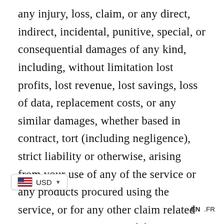any injury, loss, claim, or any direct, indirect, incidental, punitive, special, or consequential damages of any kind, including, without limitation lost profits, lost revenue, lost savings, loss of data, replacement costs, or any similar damages, whether based in contract, tort (including negligence), strict liability or otherwise, arising from your use of any of the service or any products procured using the service, or for any other claim related in any way to your use of the service or any product, including, but not limited to, any errors or omissions in any content, or any loss or damage of any kind incurred as a result of the use of the service or any content (or product) posted, transmitted, or otherwise made available via the service, even if advised of their possibility. Because some states or jurisdictions do not allow the exclusion or the limitation of liability for consequential or incidental damages, in